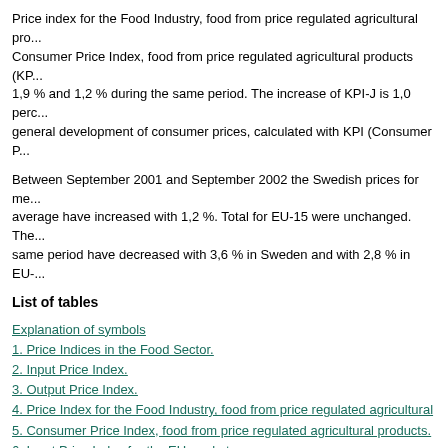Price index for the Food Industry, food from price regulated agricultural products, Consumer Price Index, food from price regulated agricultural products (KP... 1,9 % and 1,2 % during the same period. The increase of KPI-J is 1,0 perc... general development of consumer prices, calculated with KPI (Consumer P...
Between September 2001 and September 2002 the Swedish prices for me... average have increased with 1,2 %. Total for EU-15 were unchanged. The... same period have decreased with 3,6 % in Sweden and with 2,8 % in EU-...
List of tables
Explanation of symbols
1. Price Indices in the Food Sector.
2. Input Price Index.
3. Output Price Index.
4. Price Index for the Food Industry, food from price regulated agricultural
5. Consumer Price Index, food from price regulated agricultural products.
6. Input Price Index for the EU market.
7. Output Price Index for the EU market.
8. Price trends for certain means of production (elementary indices from In...
9. Producer prices for crop products (SEK per 100 kg).
10. Producer prices for animal products (SEK per 100 kg).
11. Mean producer prices for slaughtered livestock (SEK per 100 kg).